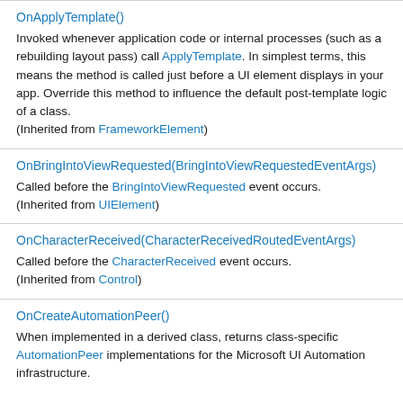OnApplyTemplate()
Invoked whenever application code or internal processes (such as a rebuilding layout pass) call ApplyTemplate. In simplest terms, this means the method is called just before a UI element displays in your app. Override this method to influence the default post-template logic of a class.
(Inherited from FrameworkElement)
OnBringIntoViewRequested(BringIntoViewRequestedEventArgs)
Called before the BringIntoViewRequested event occurs.
(Inherited from UIElement)
OnCharacterReceived(CharacterReceivedRoutedEventArgs)
Called before the CharacterReceived event occurs.
(Inherited from Control)
OnCreateAutomationPeer()
When implemented in a derived class, returns class-specific AutomationPeer implementations for the Microsoft UI Automation infrastructure.